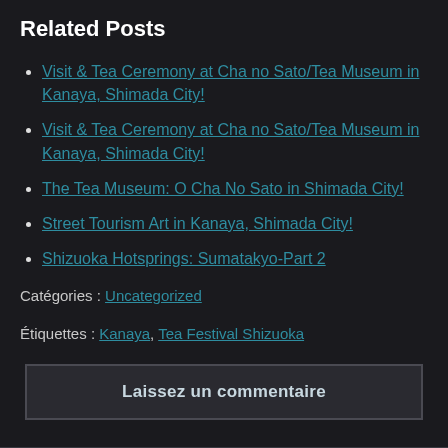Related Posts
Visit & Tea Ceremony at Cha no Sato/Tea Museum in Kanaya, Shimada City!
Visit & Tea Ceremony at Cha no Sato/Tea Museum in Kanaya, Shimada City!
The Tea Museum: O Cha No Sato in Shimada City!
Street Tourism Art in Kanaya, Shimada City!
Shizuoka Hotsprings: Sumatakyo-Part 2
Catégories : Uncategorized
Étiquettes : Kanaya, Tea Festival Shizuoka
Laissez un commentaire